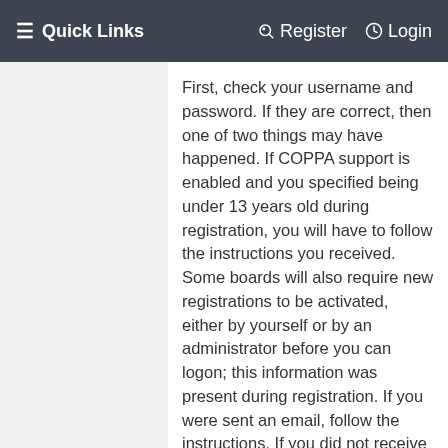Quick Links   Register   Login
First, check your username and password. If they are correct, then one of two things may have happened. If COPPA support is enabled and you specified being under 13 years old during registration, you will have to follow the instructions you received. Some boards will also require new registrations to be activated, either by yourself or by an administrator before you can logon; this information was present during registration. If you were sent an email, follow the instructions. If you did not receive an email, you may have provided an incorrect email address or the email may have been picked up by a spam filer. If you are sure the email address you provided is correct, try contacting an administrator.
↑ Top
Why can't I login?